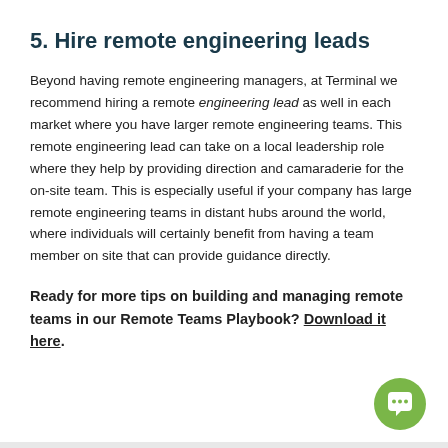5. Hire remote engineering leads
Beyond having remote engineering managers, at Terminal we recommend hiring a remote engineering lead as well in each market where you have larger remote engineering teams. This remote engineering lead can take on a local leadership role where they help by providing direction and camaraderie for the on-site team. This is especially useful if your company has large remote engineering teams in distant hubs around the world, where individuals will certainly benefit from having a team member on site that can provide guidance directly.
Ready for more tips on building and managing remote teams in our Remote Teams Playbook? Download it here.